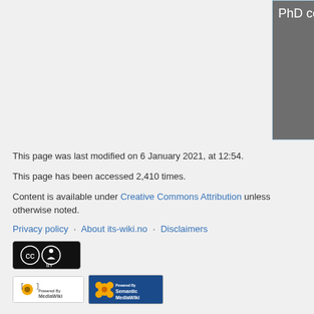[Figure (table-as-image): Partial table visible at top of page showing 'PhD courses' column and text including 'and Mobile Networks Mobile Services Sensor Systems Radio propagat...' on dark grey background with light blue border]
This page was last modified on 6 January 2021, at 12:54.
This page has been accessed 2,410 times.
Content is available under Creative Commons Attribution unless otherwise noted.
Privacy policy · About its-wiki.no · Disclaimers
[Figure (logo): Creative Commons BY badge - black background with CC and person icon]
[Figure (logo): Powered by MediaWiki badge]
[Figure (logo): Powered by Semantic MediaWiki badge]